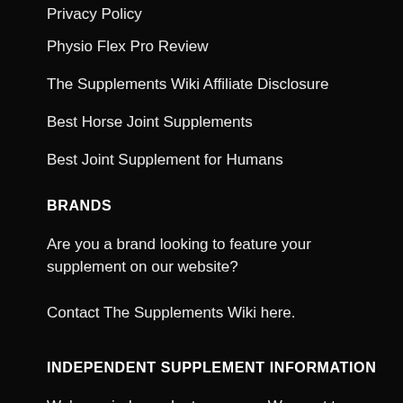Privacy Policy
Physio Flex Pro Review
The Supplements Wiki Affiliate Disclosure
Best Horse Joint Supplements
Best Joint Supplement for Humans
BRANDS
Are you a brand looking to feature your supplement on our website?
Contact The Supplements Wiki here.
INDEPENDENT SUPPLEMENT INFORMATION
We're an independent resource. We want to provide simple, actionable posts that are